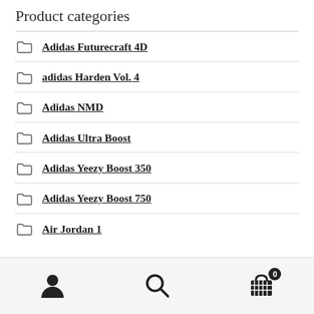Product categories
Adidas Futurecraft 4D
adidas Harden Vol. 4
Adidas NMD
Adidas Ultra Boost
Adidas Yeezy Boost 350
Adidas Yeezy Boost 750
Air Jordan 1